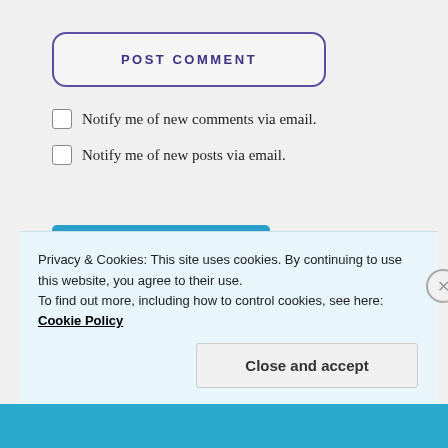POST COMMENT
Notify me of new comments via email.
Notify me of new posts via email.
[Figure (other): WordPress Follow button: Follow Red Rocket Panda]
Privacy & Cookies: This site uses cookies. By continuing to use this website, you agree to their use. To find out more, including how to control cookies, see here: Cookie Policy
Close and accept